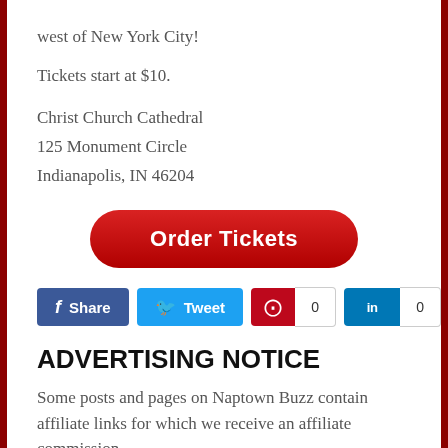west of New York City!
Tickets start at $10.
Christ Church Cathedral
125 Monument Circle
Indianapolis, IN 46204
[Figure (other): Red Order Tickets button]
[Figure (other): Social sharing buttons: Share (Facebook), Tweet (Twitter), Pinterest count 0, LinkedIn count 0]
ADVERTISING NOTICE
Some posts and pages on Naptown Buzz contain affiliate links for which we receive an affiliate commission.